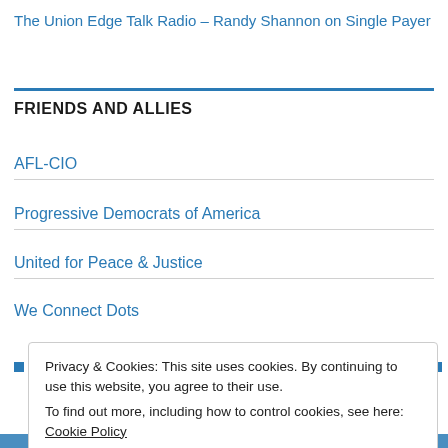The Union Edge Talk Radio – Randy Shannon on Single Payer
FRIENDS AND ALLIES
AFL-CIO
Progressive Democrats of America
United for Peace & Justice
We Connect Dots
Privacy & Cookies: This site uses cookies. By continuing to use this website, you agree to their use.
To find out more, including how to control cookies, see here: Cookie Policy
Close and accept